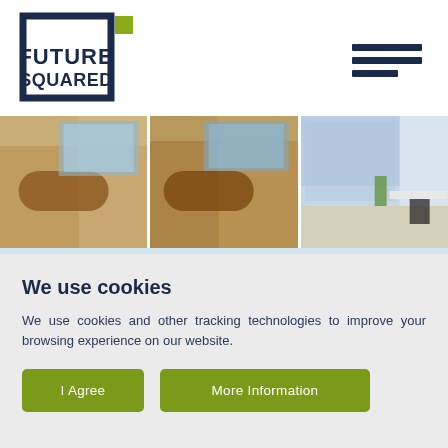[Figure (logo): Future Squared logo: dark navy square outline with green accent square, text FUTURE SQUARED in dark navy bold]
[Figure (photo): Hamburger menu icon (three horizontal lines, third shorter) in dark navy]
[Figure (photo): Three office/workspace photos side by side: reception desk area (shown twice), modern office with window and desk]
We use cookies
We use cookies and other tracking technologies to improve your browsing experience on our website.
I Agree
More Information